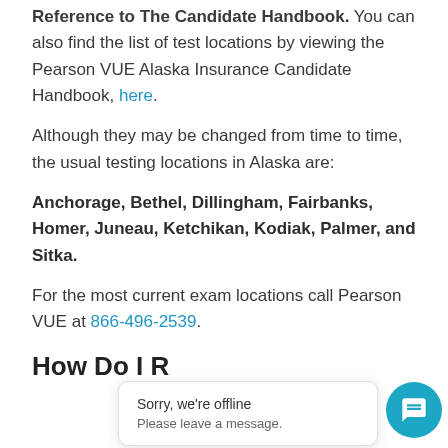Reference to The Candidate Handbook. You can also find the list of test locations by viewing the Pearson VUE Alaska Insurance Candidate Handbook, here.
Although they may be changed from time to time, the usual testing locations in Alaska are:
Anchorage, Bethel, Dillingham, Fairbanks, Homer, Juneau, Ketchikan, Kodiak, Palmer, and Sitka.
For the most current exam locations call Pearson VUE at 866-496-2539.
How Do I R
[Figure (screenshot): Chat widget overlay showing 'Sorry, we're offline. Please leave a message.' with a teal chat button icon.]